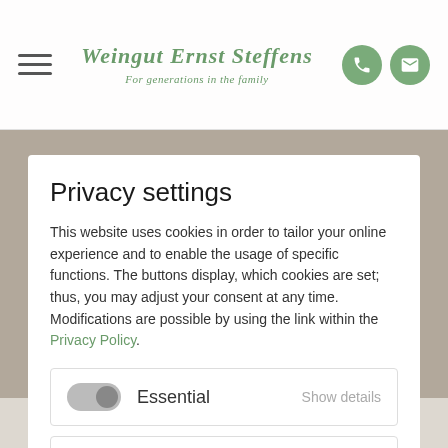Weingut Ernst Steffens — For generations in the family
Privacy settings
This website uses cookies in order to tailor your online experience and to enable the usage of specific functions. The buttons display, which cookies are set; thus, you may adjust your consent at any time. Modifications are possible by using the link within the Privacy Policy.
Essential — Show details
Functional — Show details
Save selection